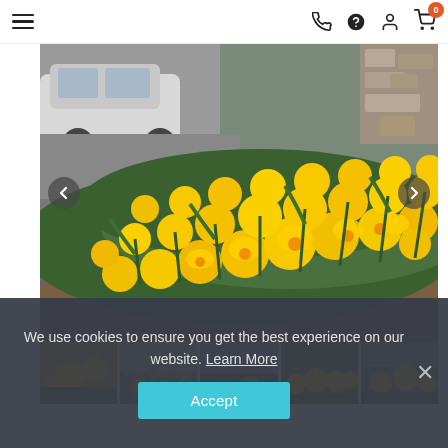[Figure (screenshot): Website navigation bar with hamburger menu on left, and icons (phone, help, user, cart with badge 0) on right]
[Figure (photo): Large photo of bright yellow daffodils growing along a roadside, with a white car and stone wall visible in the background]
[Figure (photo): Thumbnail strip of five smaller images showing various garden/flower scenes]
We use cookies to ensure you get the best experience on our website. Learn More
Accept